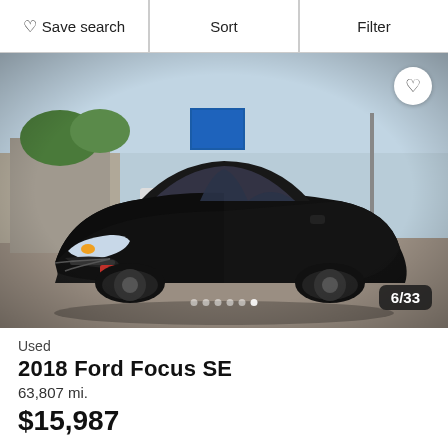Save search  Sort  Filter
[Figure (photo): Black 2018 Ford Focus SE sedan photographed in a dealership lot from a front three-quarter angle. Image counter shows 6/33. Six dot navigation indicators visible at bottom center. Favorite heart button in top right corner.]
Used
2018 Ford Focus SE
63,807 mi.
$15,987